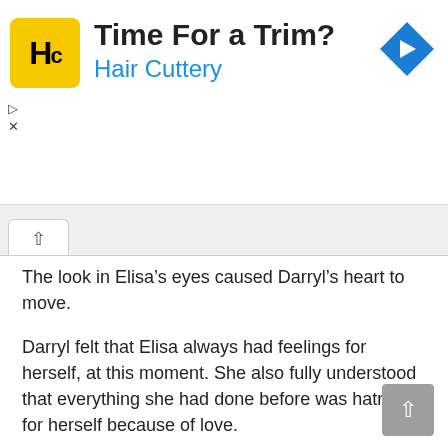[Figure (other): Hair Cuttery advertisement banner with yellow square logo containing 'HC', title 'Time For a Trim?', subtitle 'Hair Cuttery' in blue, and a blue navigation arrow icon on the right]
The look in Elisa's eyes caused Darryl's heart to move.
Darryl felt that Elisa always had feelings for herself, at this moment. She also fully understood that everything she had done before was hatred for herself because of love.
Alas, this woman...
“Head!”